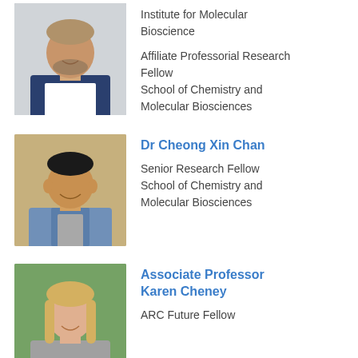[Figure (photo): Headshot of a man with beard wearing a navy blazer and white shirt]
Institute for Molecular Bioscience

Affiliate Professorial Research Fellow
School of Chemistry and Molecular Biosciences
[Figure (photo): Headshot of Dr Cheong Xin Chan smiling, wearing a light blue shirt]
Dr Cheong Xin Chan
Senior Research Fellow
School of Chemistry and Molecular Biosciences
[Figure (photo): Headshot of Associate Professor Karen Cheney, woman with blonde hair]
Associate Professor Karen Cheney
ARC Future Fellow